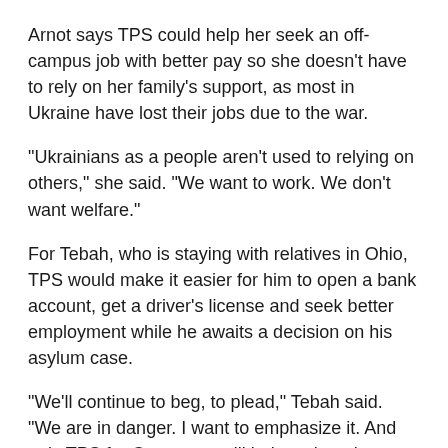Arnot says TPS could help her seek an off-campus job with better pay so she doesn't have to rely on her family's support, as most in Ukraine have lost their jobs due to the war.
“Ukrainians as a people aren’t used to relying on others,” she said. “We want to work. We don’t want welfare.”
For Tebah, who is staying with relatives in Ohio, TPS would make it easier for him to open a bank account, get a driver’s license and seek better employment while he awaits a decision on his asylum case.
“We’ll continue to beg, to plead,” Tebah said. “We are in danger. I want to emphasize it. And only TPS for Cameroon will help us be taken out of that danger. It is very necessary.”
Associated Press video journalist Patrick Orsagos in